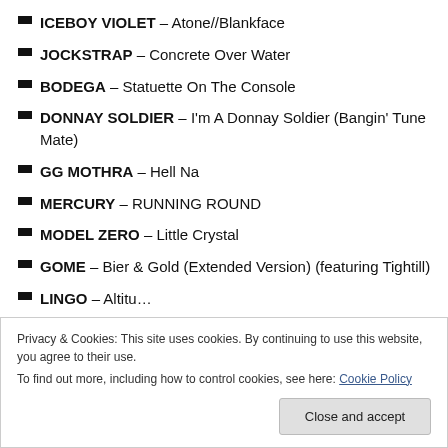ICEBOY VIOLET – Atone//Blankface
JOCKSTRAP – Concrete Over Water
BODEGA – Statuette On The Console
DONNAY SOLDIER – I'm A Donnay Soldier (Bangin' Tune Mate)
GG MOTHRA – Hell Na
MERCURY – RUNNING ROUND
MODEL ZERO – Little Crystal
GOME – Bier & Gold (Extended Version) (featuring Tightill)
LINGO – Altitude (partial, cut off)
Privacy & Cookies: This site uses cookies. By continuing to use this website, you agree to their use.
To find out more, including how to control cookies, see here: Cookie Policy